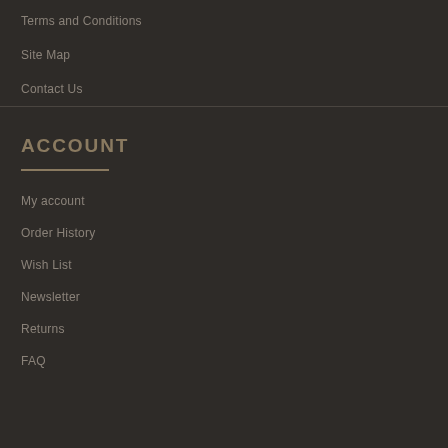Terms and Conditions
Site Map
Contact Us
ACCOUNT
My account
Order History
Wish List
Newsletter
Returns
FAQ